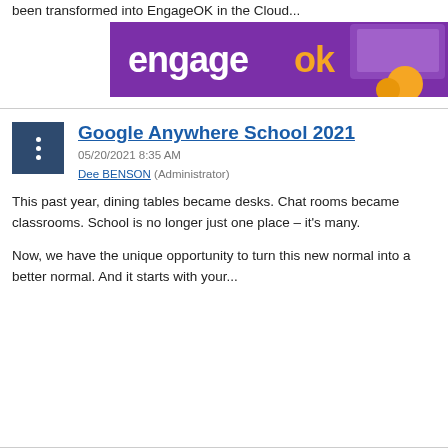been transformed into EngageOK in the Cloud...
[Figure (logo): EngageOK banner logo on purple background with laptop imagery and orange circle accent]
Google Anywhere School 2021
05/20/2021 8:35 AM
Dee BENSON (Administrator)
This past year, dining tables became desks. Chat rooms became classrooms. School is no longer just one place – it's many.
Now, we have the unique opportunity to turn this new normal into a better normal. And it starts with your...